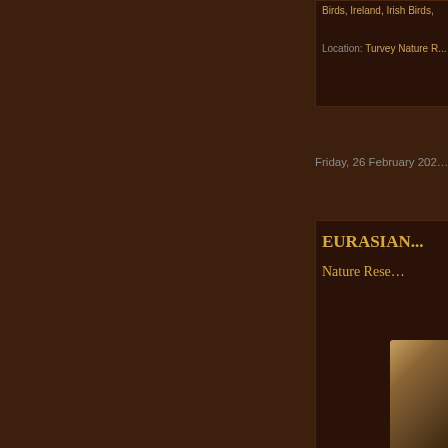Birds, Ireland, Irish Birds,
Location: Turvey Nature R...
Friday, 26 February 202...
EURASIAN...
Nature Rese...
[Figure (photo): Partial view of a bird photograph, showing warm brown tones, clipped at right edge of page]